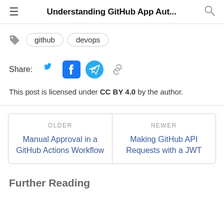Understanding GitHub App Aut...
github
devops
Share:
This post is licensed under CC BY 4.0 by the author.
OLDER
Manual Approval in a GitHub Actions Workflow
NEWER
Making GitHub API Requests with a JWT
Further Reading